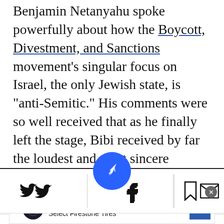Benjamin Netanyahu spoke powerfully about how the Boycott, Divestment, and Sanctions movement's singular focus on Israel, the only Jewish state, is "anti-Semitic." His comments were so well received that as he finally left the stage, Bibi received by far the loudest and most sincere standing ovation of the conference. As a Jewish student and pro-Israel activist at UCLA, I couldn't help but let his words resonate with me. In a world of universal apathy, the single obs__ion on Israel's
[Figure (screenshot): Mobile app navigation toolbar with Twitter, Facebook, bookmark, and email share icons; a blue circular home/navigation button centered above the toolbar; horizontal divider line above toolbar.]
[Figure (screenshot): Advertisement banner: Get Up To $110 Off a Set of 4 Select Firestone Tires, with Firestone auto logo and blue directional arrow icon, and a close button.]